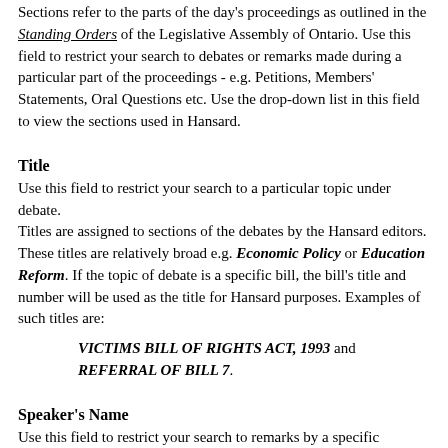Sections refer to the parts of the day's proceedings as outlined in the Standing Orders of the Legislative Assembly of Ontario. Use this field to restrict your search to debates or remarks made during a particular part of the proceedings - e.g. Petitions, Members' Statements, Oral Questions etc. Use the drop-down list in this field to view the sections used in Hansard.
Title
Use this field to restrict your search to a particular topic under debate.
Titles are assigned to sections of the debates by the Hansard editors. These titles are relatively broad e.g. Economic Policy or Education Reform. If the topic of debate is a specific bill, the bill's title and number will be used as the title for Hansard purposes. Examples of such titles are:
VICTIMS BILL OF RIGHTS ACT, 1993 and REFERRAL OF BILL 7.
Speaker's Name
Use this field to restrict your search to remarks by a specific member.
Note: The first time a member speaks on a topic both the member's first name and his or her riding is mentioned. (e.g. Mr John Smith (Algoma) ), thereafter